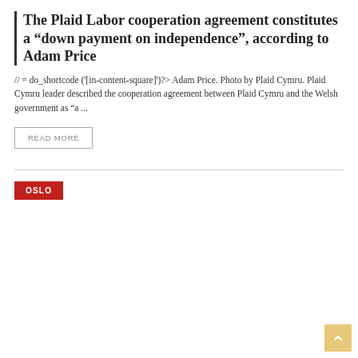The Plaid Labor cooperation agreement constitutes a “down payment on independence”, according to Adam Price
// = do_shortcode ('[in-content-square]')?> Adam Price. Photo by Plaid Cymru. Plaid Cymru leader described the cooperation agreement between Plaid Cymru and the Welsh government as “a ...
READ MORE
OSLO